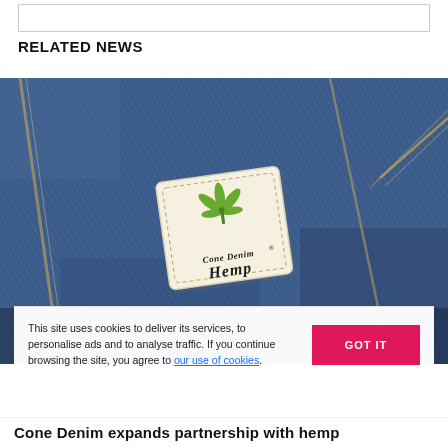RELATED NEWS
[Figure (photo): Close-up photograph of blue denim fabric with a Cone Denim Hemp branded label stitched onto the fabric. The label is off-white/cream colored with a green hemp leaf graphic and the text 'Cone Denim Hemp' in cursive/script style.]
This site uses cookies to deliver its services, to personalise ads and to analyse traffic. If you continue browsing the site, you agree to our use of cookies.
Cone Denim expands partnership with hemp